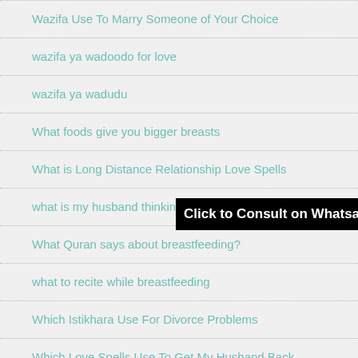Wazifa Use To Marry Someone of Your Choice
wazifa ya wadoodo for love
wazifa ya wadudu
What foods give you bigger breasts
What is Long Distance Relationship Love Spells
what is my husband thinking during separation
What Quran says about breastfeeding?
what to recite while breastfeeding
Which Istikhara Use For Divorce Problems
Which Love Spells Use To Get My Husband Back